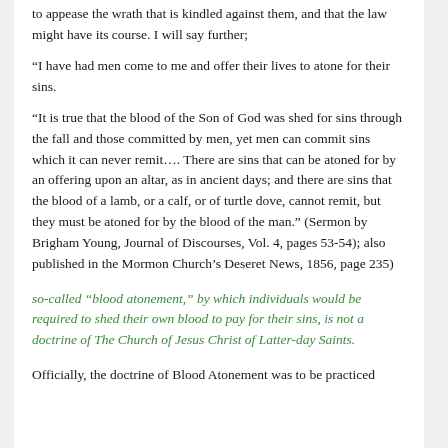to appease the wrath that is kindled against them, and that the law might have its course. I will say further;
“I have had men come to me and offer their lives to atone for their sins.
“It is true that the blood of the Son of God was shed for sins through the fall and those committed by men, yet men can commit sins which it can never remit…. There are sins that can be atoned for by an offering upon an altar, as in ancient days; and there are sins that the blood of a lamb, or a calf, or of turtle dove, cannot remit, but they must be atoned for by the blood of the man.” (Sermon by Brigham Young, Journal of Discourses, Vol. 4, pages 53-54); also published in the Mormon Church’s Deseret News, 1856, page 235)
so-called “blood atonement,” by which individuals would be required to shed their own blood to pay for their sins, is not a doctrine of The Church of Jesus Christ of Latter-day Saints.
Officially, the doctrine of Blood Atonement was to be practiced only on the Mormon faithful. It was based on the idea that some sins are so grave...